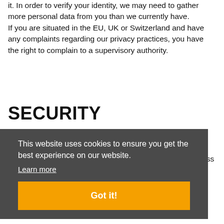it. In order to verify your identity, we may need to gather more personal data from you than we currently have. If you are situated in the EU, UK or Switzerland and have any complaints regarding our privacy practices, you have the right to complain to a supervisory authority.
SECURITY
...ion ...able ...access ...g ...o
This website uses cookies to ensure you get the best experience on our website. Learn more Got it!